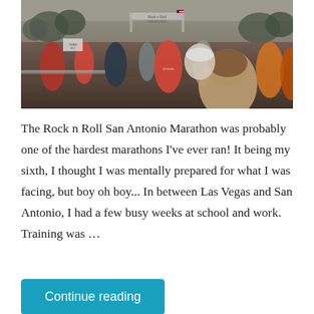[Figure (photo): Photo of a large crowd of marathon runners at the start line of the Rock n Roll San Antonio Marathon. A race banner/arch is visible in the background. Trees and city buildings in the background. Overcast sky.]
The Rock n Roll San Antonio Marathon was probably one of the hardest marathons I've ever ran! It being my sixth, I thought I was mentally prepared for what I was facing, but boy oh boy... In between Las Vegas and San Antonio, I had a few busy weeks at school and work. Training was …
Continue reading